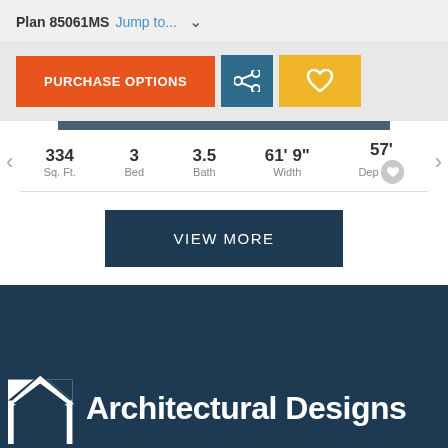Plan 85061MS Jump to... ∨
PURCHASE OPTIONS
334 Sq. Ft. | 3 Bed | 3.5 Bath | 61' 9" Width | 57' Dep.
VIEW MORE
[Figure (logo): Architectural Designs logo with house/roof icon on dark navy background]